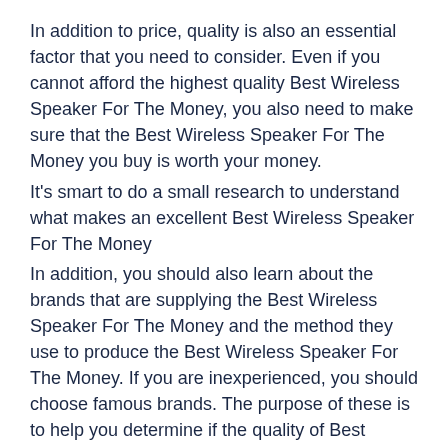In addition to price, quality is also an essential factor that you need to consider. Even if you cannot afford the highest quality Best Wireless Speaker For The Money, you also need to make sure that the Best Wireless Speaker For The Money you buy is worth your money.
It's smart to do a small research to understand what makes an excellent Best Wireless Speaker For The Money
In addition, you should also learn about the brands that are supplying the Best Wireless Speaker For The Money and the method they use to produce the Best Wireless Speaker For The Money. If you are inexperienced, you should choose famous brands. The purpose of these is to help you determine if the quality of Best Wireless Speaker For The Money is what you are expecting.
Brand